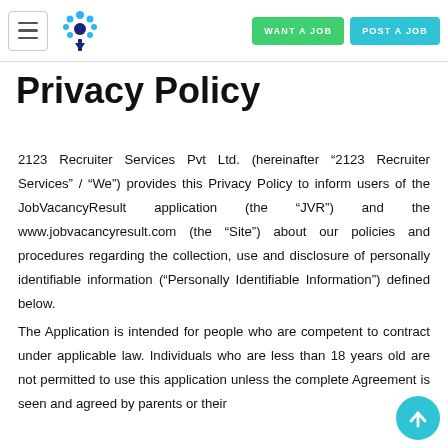Privacy Policy | WANT A JOB | POST A JOB
Privacy Policy
2123 Recruiter Services Pvt Ltd. (hereinafter “2123 Recruiter Services” / “We”) provides this Privacy Policy to inform users of the JobVacancyResult application (the “JVR”) and the www.jobvacancyresult.com (the “Site”) about our policies and procedures regarding the collection, use and disclosure of personally identifiable information (“Personally Identifiable Information”) defined below.
The Application is intended for people who are competent to contract under applicable law. Individuals who are less than 18 years old are not permitted to use this application unless the complete Agreement is seen and agreed by parents or their